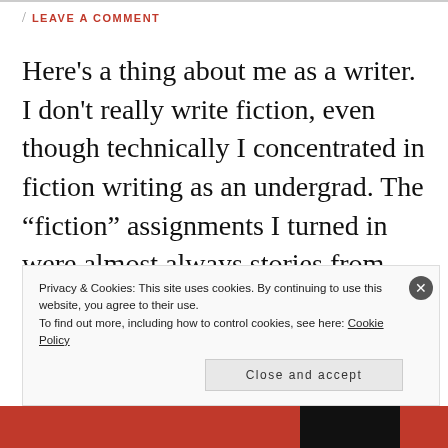/ LEAVE A COMMENT
Here's a thing about me as a writer. I don't really write fiction, even though technically I concentrated in fiction writing as an undergrad. The "fiction" assignments I turned in were almost always stories from my life, where I just changed the names and a few details (sorry, Prof Russell). But maybe that's
Privacy & Cookies: This site uses cookies. By continuing to use this website, you agree to their use.
To find out more, including how to control cookies, see here: Cookie Policy
Close and accept